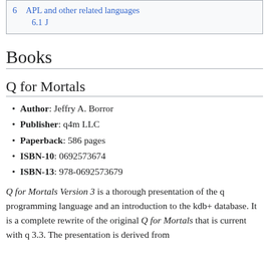6 APL and other related languages
6.1 J
Books
Q for Mortals
Author: Jeffry A. Borror
Publisher: q4m LLC
Paperback: 586 pages
ISBN-10: 0692573674
ISBN-13: 978-0692573679
Q for Mortals Version 3 is a thorough presentation of the q programming language and an introduction to the kdb+ database. It is a complete rewrite of the original Q for Mortals that is current with q 3.3. The presentation is derived from